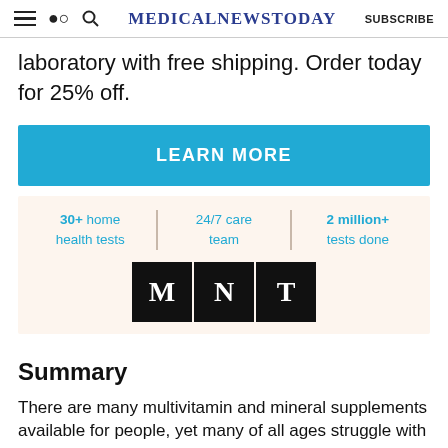MedicalNewsToday SUBSCRIBE
laboratory with free shipping. Order today for 25% off.
[Figure (infographic): LEARN MORE button in solid cyan/blue background]
[Figure (infographic): Info box with stats: 30+ home health tests, 24/7 care team, 2 million+ tests done, and MNT logo]
Summary
There are many multivitamin and mineral supplements available for people, yet many of all ages struggle with